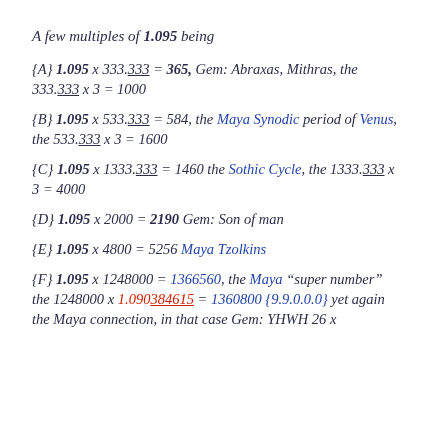A few multiples of 1.095 being
{A} 1.095 x 333.333 = 365, Gem: Abraxas, Mithras, the 333.333 x 3 = 1000
{B} 1.095 x 533.333 = 584, the Maya Synodic period of Venus, the 533.333 x 3 = 1600
{C} 1.095 x 1333.333 = 1460 the Sothic Cycle, the 1333.333 x 3 = 4000
{D} 1.095 x 2000 = 2190 Gem: Son of man
{E} 1.095 x 4800 = 5256 Maya Tzolkins
{F} 1.095 x 1248000 = 1366560, the Maya "super number" the 1248000 x 1.090384615 = 1360800 {9.9.0.0.0} yet again the Maya connection, in that case Gem: YHWH 26 x...